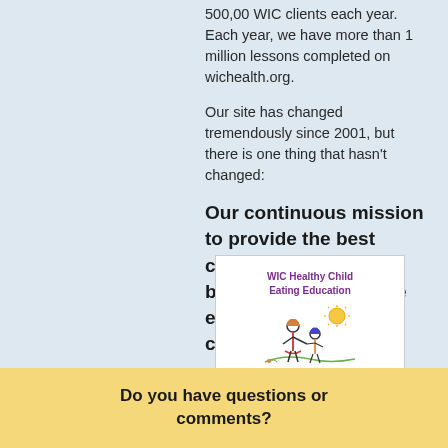500,00 WIC clients each year. Each year, we have more than 1 million lessons completed on wichealth.org.
Our site has changed tremendously since 2001, but there is one thing that hasn't changed:
Our continuous mission to provide the best client-centered and behavior-based online education for WIC clients.
[Figure (screenshot): Screenshot of WIC Healthy Child Eating Education web module showing title in purple text and stick figure illustration of adult and child holding hands outdoors with sun, and 'Click here to begin' link at bottom.]
Do you have questions or comments?